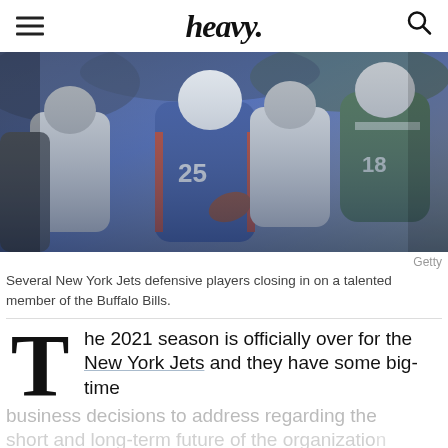heavy.
[Figure (photo): Several New York Jets defensive players closing in on a talented member of the Buffalo Bills wearing blue uniform number 25, action shot during an NFL game.]
Getty
Several New York Jets defensive players closing in on a talented member of the Buffalo Bills.
The 2021 season is officially over for the New York Jets and they have some big-time business decisions to address regarding the short and long-term future of the organization.